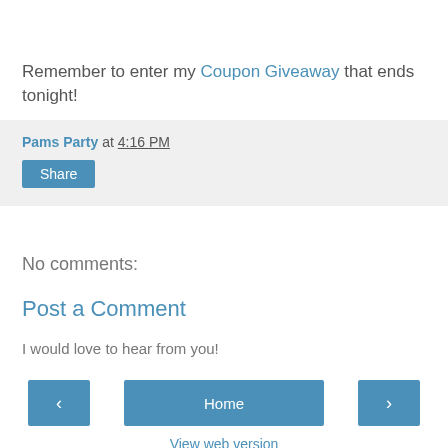Remember to enter my Coupon Giveaway that ends tonight!
Pams Party at 4:16 PM
Share
No comments:
Post a Comment
I would love to hear from you!
‹  Home  ›
View web version
Powered by Blogger.